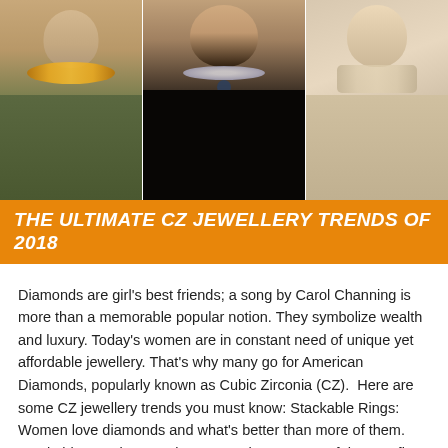[Figure (photo): Three fashion models side by side wearing statement necklaces and chokers — left model in olive top with gold hoop collar, center model in black with crystal choker, right model with structured collar piece]
THE ULTIMATE CZ JEWELLERY TRENDS OF 2018
Diamonds are girl's best friends; a song by Carol Channing is more than a memorable popular notion. They symbolize wealth and luxury. Today's women are in constant need of unique yet affordable jewellery. That's why many go for American Diamonds, popularly known as Cubic Zirconia (CZ).  Here are some CZ jewellery trends you must know: Stackable Rings: Women love diamonds and what's better than more of them. Stackable CZ Rings are in vogue. Choose a set of three or five rings with versatile designs. Use knots, floral patterns, and single stone rings to